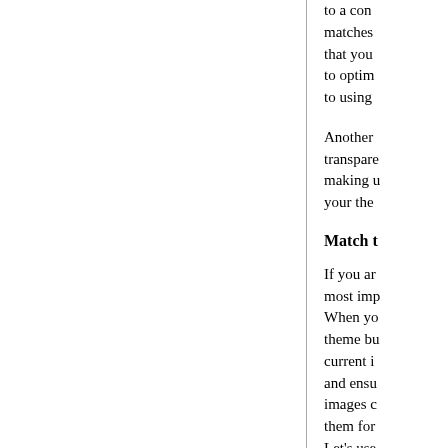to a con matches that you to optim to using
Another transpare making u your the
Match t
If you ar most imp When yo theme bu current i and ensu images c them for Let's use
Now con